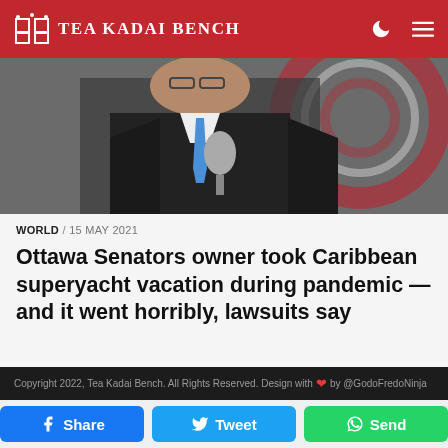Tea Kadai Bench
[Figure (photo): Close-up photo of a man in a dark suit and blue tie holding a microphone, with a red and white circular design in the background]
WORLD / 15 MAY 2021
Ottawa Senators owner took Caribbean superyacht vacation during pandemic — and it went horribly, lawsuits say
Copyright 2022, Tea Kadai Bench. All Rights Reserved. Design with ❤ by @GodoFredoNinja